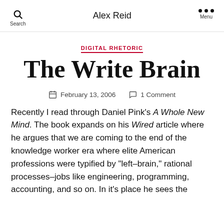Alex Reid
DIGITAL RHETORIC
The Write Brain
February 13, 2006   1 Comment
Recently I read through Daniel Pink's A Whole New Mind. The book expands on his Wired article where he argues that we are coming to the end of the knowledge worker era where elite American professions were typified by "left-brain," rational processes–jobs like engineering, programming, accounting, and so on. In it's place he sees the